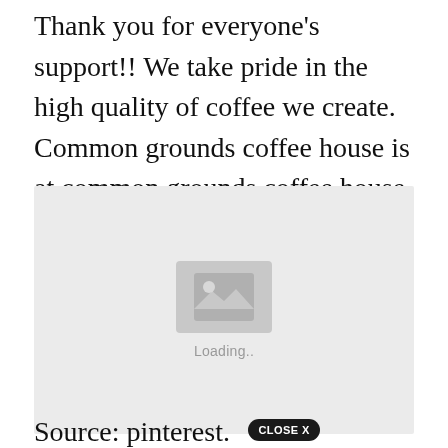Thank you for everyone's support!! We take pride in the high quality of coffee we create. Common grounds coffee house is at common grounds coffee house.
[Figure (photo): Image placeholder with loading indicator showing a grey box with a mountain/image icon and 'Loading..' text below it]
Source: pinterest. [CLOSE X button overlay]